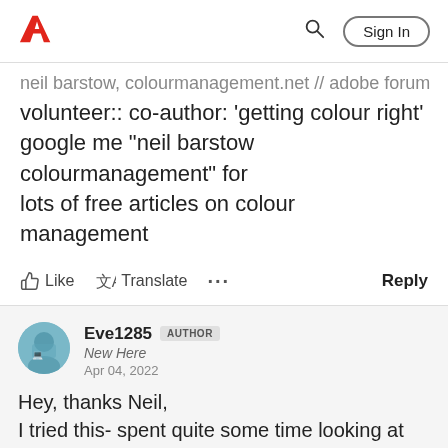Adobe | Sign In
neil barstow, colourmanagement.net // adobe forum volunteer:: co-author: 'getting colour right' google me "neil barstow colourmanagement" for lots of free articles on colour management
Like  Translate  ...  Reply
Eve1285  AUTHOR
New Here
Apr 04, 2022
Hey, thanks Neil,
I tried this- spent quite some time looking at these options but sadly cant get the right version of DNG. For a while I hobbled along using the